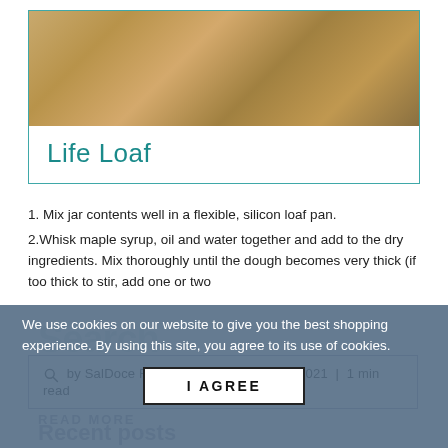[Figure (photo): Close-up food photo of a baked loaf with golden-brown crust and toppings, blurred background]
Life Loaf
1. Mix jar contents well in a flexible, silicon loaf pan.
2.Whisk maple syrup, oil and water together and add to the dry ingredients. Mix thoroughly until the dough becomes very thick (if too thick to stir, add one or two
by SalDoce Fine Foods  |  26 October, 2021  |  1 min read
We use cookies on our website to give you the best shopping experience. By using this site, you agree to its use of cookies.
I AGREE